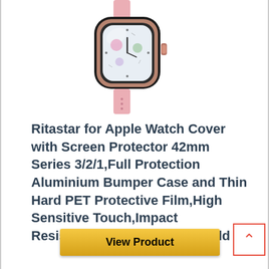[Figure (photo): Apple Watch with rose gold aluminium bumper case and screen protector, shown at an angle with pink sport band]
Ritastar for Apple Watch Cover with Screen Protector 42mm Series 3/2/1,Full Protection Aluminium Bumper Case and Thin Hard PET Protective Film,High Sensitive Touch,Impact Resistant,No Bubble,Rose Gold